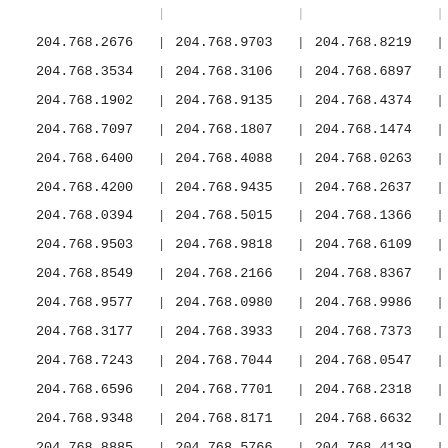| 204.768.2676 | | | 204.768.9703 | | | 204.768.8219 | | |
| 204.768.3534 | | | 204.768.3106 | | | 204.768.6897 | | |
| 204.768.1902 | | | 204.768.9135 | | | 204.768.4374 | | |
| 204.768.7097 | | | 204.768.1807 | | | 204.768.1474 | | |
| 204.768.6400 | | | 204.768.4088 | | | 204.768.0263 | | |
| 204.768.4200 | | | 204.768.9435 | | | 204.768.2637 | | |
| 204.768.0394 | | | 204.768.5015 | | | 204.768.1366 | | |
| 204.768.9503 | | | 204.768.9818 | | | 204.768.6109 | | |
| 204.768.8549 | | | 204.768.2166 | | | 204.768.8367 | | |
| 204.768.9577 | | | 204.768.0980 | | | 204.768.9986 | | |
| 204.768.3177 | | | 204.768.3933 | | | 204.768.7373 | | |
| 204.768.7243 | | | 204.768.7044 | | | 204.768.0547 | | |
| 204.768.6596 | | | 204.768.7701 | | | 204.768.2318 | | |
| 204.768.9348 | | | 204.768.8171 | | | 204.768.6632 | | |
| 204.768.8885 | | | 204.768.5766 | | | 204.768.4139 | | |
| 204.768.0803 | | | 204.768.1475 | | | 204.768.8798 | | |
| 204.768.4718 | | | 204.768.0218 | | | 204.768.0072 | | |
| 204.768.7335 | | | 204.768.2479 | | | 204.768.2873 | | |
| 204.768.0378 | | | 204.768.9700 | | | 204.768.0472 | | |